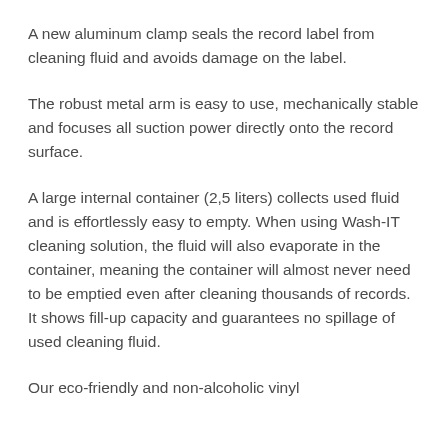A new aluminum clamp seals the record label from cleaning fluid and avoids damage on the label.
The robust metal arm is easy to use, mechanically stable and focuses all suction power directly onto the record surface.
A large internal container (2,5 liters) collects used fluid and is effortlessly easy to empty. When using Wash-IT cleaning solution, the fluid will also evaporate in the container, meaning the container will almost never need to be emptied even after cleaning thousands of records. It shows fill-up capacity and guarantees no spillage of used cleaning fluid.
Our eco-friendly and non-alcoholic vinyl